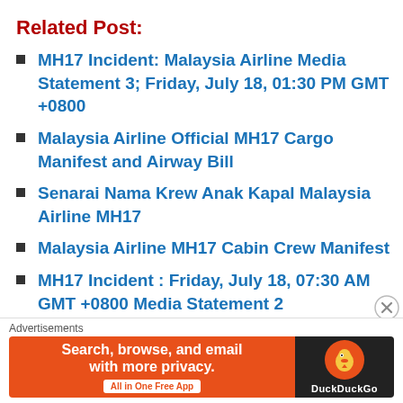Related Post:
MH17 Incident: Malaysia Airline Media Statement 3; Friday, July 18, 01:30 PM GMT +0800
Malaysia Airline Official MH17 Cargo Manifest and Airway Bill
Senarai Nama Krew Anak Kapal Malaysia Airline MH17
Malaysia Airline MH17 Cabin Crew Manifest
MH17 Incident : Friday, July 18, 07:30 AM GMT +0800 Media Statement 2
MH17: Photos And Videos Of The Plane Crash
MH17 Tragedy: Unofficial List Of
[Figure (screenshot): DuckDuckGo advertisement banner: orange background with text 'Search, browse, and email with more privacy. All in One Free App' and DuckDuckGo logo on dark background]